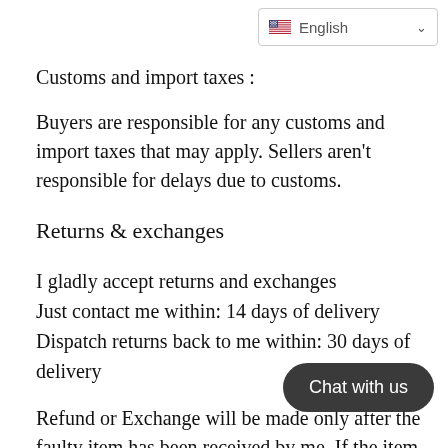[Figure (other): Language selector dropdown showing US flag and 'English' with chevron]
Customs and import taxes :
Buyers are responsible for any customs and import taxes that may apply. Sellers aren't responsible for delays due to customs.
Returns & exchanges
I gladly accept returns and exchanges
Just contact me within: 14 days of delivery
Dispatch returns back to me within: 30 days of delivery
Refund or Exchange will be made only after the faulty item has been received by me. If the item atta...
[Figure (other): Chat with us button overlay]